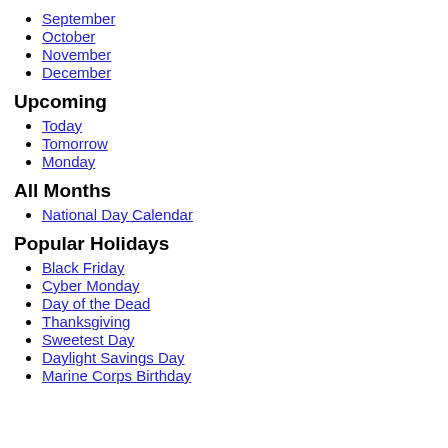September
October
November
December
Upcoming
Today
Tomorrow
Monday
All Months
National Day Calendar
Popular Holidays
Black Friday
Cyber Monday
Day of the Dead
Thanksgiving
Sweetest Day
Daylight Savings Day
Marine Corps Birthday